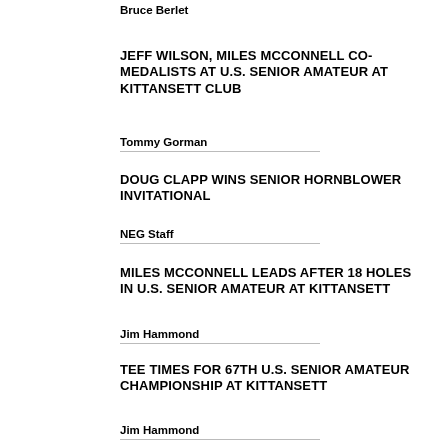Bruce Berlet
JEFF WILSON, MILES MCCONNELL CO-MEDALISTS AT U.S. SENIOR AMATEUR AT KITTANSETT CLUB
Tommy Gorman
DOUG CLAPP WINS SENIOR HORNBLOWER INVITATIONAL
NEG Staff
MILES MCCONNELL LEADS AFTER 18 HOLES IN U.S. SENIOR AMATEUR AT KITTANSETT
Jim Hammond
TEE TIMES FOR 67TH U.S. SENIOR AMATEUR CHAMPIONSHIP AT KITTANSETT
Jim Hammond